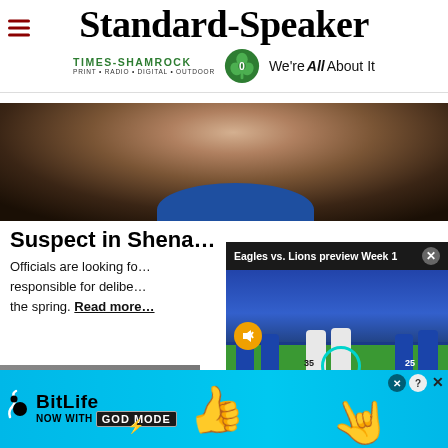Standard-Speaker — TIMES-SHAMROCK PRINT · RADIO · DIGITAL · OUTDOOR — We're All About It
[Figure (photo): Close-up blurred photo of a person's face with dark beard, wearing a blue collar, against a stone/dark background]
Suspect in Shena…
Officials are looking fo… responsible for delibe… the spring. Read more
[Figure (screenshot): Video popup overlay: 'Eagles vs. Lions preview Week 1' with football game footage showing players on field, mute button, close button]
[Figure (photo): BitLife advertisement banner: 'NOW WITH GOD MODE' on cyan/blue background with hand/thumbs-up graphics]